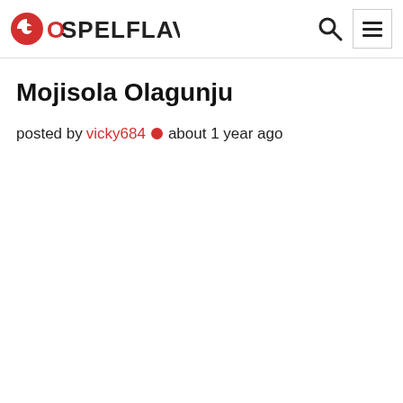GOSPELFLAVOUR
Mojisola Olagunju
posted by vicky684 • about 1 year ago